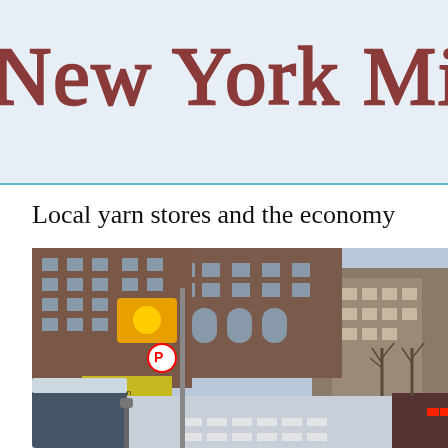New York Minkn...
Local yarn stores and the economy
[Figure (photo): Street scene in New York City in winter with snow. Shows a traffic light, a no-parking sign, street pole, snow-covered parked van on the left, brick apartment buildings in the background, storefronts including a yellow-signed shop and Five Star establishment, pedestrians, bare winter trees, a car with brake lights on right side, and a crosswalk in the foreground.]